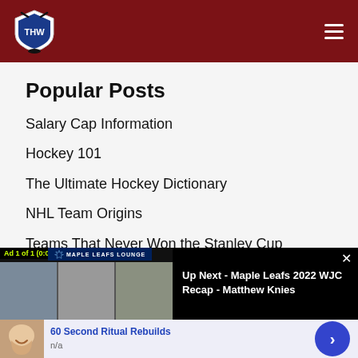THW - The Hockey Writers
Popular Posts
Salary Cap Information
Hockey 101
The Ultimate Hockey Dictionary
NHL Team Origins
Teams That Never Won the Stanley Cup
The Original 6
[Figure (screenshot): Video ad overlay showing Maple Leafs Lounge video with three people, ad label 'Ad 1 of 1 (0:06)', and 'Up Next - Maple Leafs 2022 WJC Recap - Matthew Knies' text on black background with close button]
© 2022 The Hockey Writers
[Figure (advertisement): Bottom ad showing '60 Second Ritual Rebuilds' with n/a subtitle, thumbnail of smiling face, and blue arrow button]